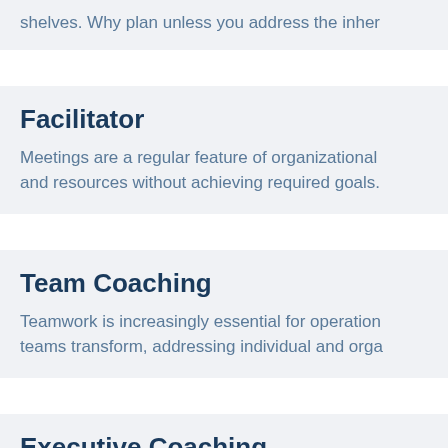shelves. Why plan unless you address the inher
Facilitator
Meetings are a regular feature of organizational and resources without achieving required goals.
Team Coaching
Teamwork is increasingly essential for operation teams transform, addressing individual and orga
Executive Coaching